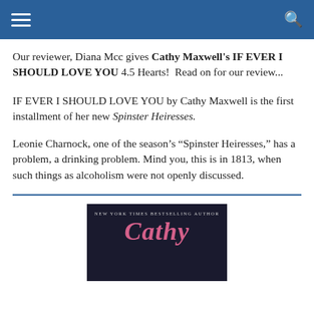Our reviewer, Diana Mcc gives Cathy Maxwell's IF EVER I SHOULD LOVE YOU 4.5 Hearts!  Read on for our review...
IF EVER I SHOULD LOVE YOU by Cathy Maxwell is the first installment of her new Spinster Heiresses.
Leonie Charnock, one of the season's “Spinster Heiresses,” has a problem, a drinking problem. Mind you, this is in 1813, when such things as alcoholism were not openly discussed.
[Figure (photo): Book cover of Cathy Maxwell's IF EVER I SHOULD LOVE YOU, showing 'NEW YORK TIMES BESTSELLING AUTHOR' at top and 'CATHY' in pink stylized font on dark background]